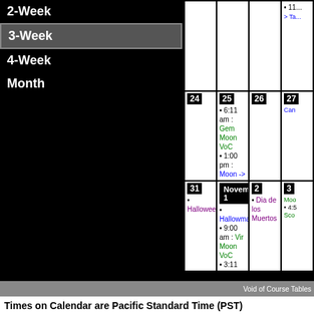2-Week
3-Week
4-Week
Month
| 24 | 25 | 26 | 27 |
| --- | --- | --- | --- |
|  | • 6:11 am : Gem Moon VoC • 1:00 pm : Moon -> Can |  | Can |
| 31 • Halloween | November 1 • Hallowmas • 9:00 am : Vir Moon VoC • 3:11 pm : Moon -> Lib | 2 • Dia de los Muertos | 3 Moo • 4:5 Sco |
Void of Course Tables
Times on Calendar are Pacific Standard Time (PST)